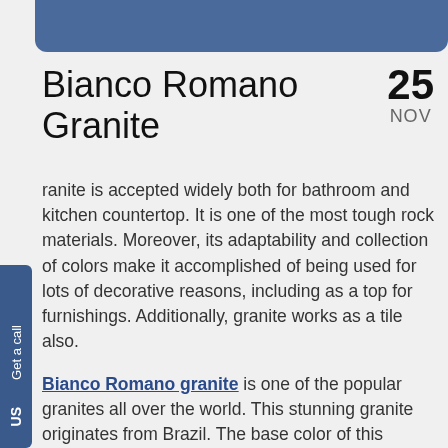[Figure (other): Blue decorative banner bar at the top of the page]
Bianco Romano Granite
25 NOV
Granite is accepted widely both for bathroom and kitchen countertop. It is one of the most tough rock materials. Moreover, its adaptability and collection of colors make it accomplished of being used for lots of decorative reasons, including as a top for furnishings. Additionally, granite works as a tile also.
Bianco Romano granite is one of the popular granites all over the world. This stunning granite originates from Brazil. The base color of this granite is white with gray. It has a pearl effect on its surface. There are often found maroon veining throughout it also.
Bianco Romano provides an elegant look to a kitchen. The exclusive looks of this particular granite allow a dull room to be changed into a striking one.